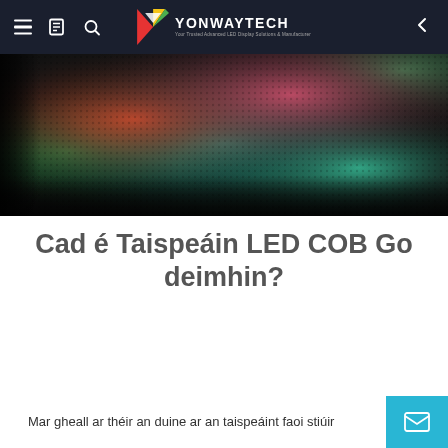YONWAYTECH navigation bar
[Figure (photo): Close-up photograph of an LED COB display panel showing colorful blurred lights — green, red, orange, teal — with a visible pixel grid pattern on a dark background]
Cad é Taispeáin LED COB Go deimhin?
Mar gheall ar théir an duine ar an taispeáint faoi stiúir